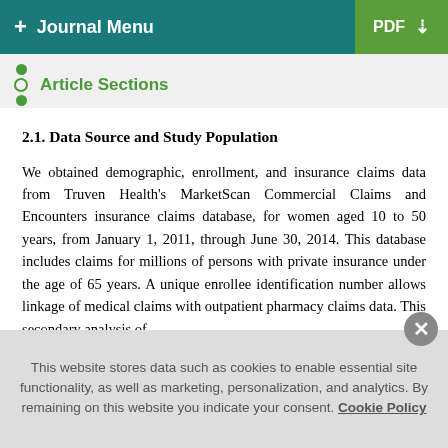+ Journal Menu | PDF
Article Sections
2.1. Data Source and Study Population
We obtained demographic, enrollment, and insurance claims data from Truven Health's MarketScan Commercial Claims and Encounters insurance claims database, for women aged 10 to 50 years, from January 1, 2011, through June 30, 2014. This database includes claims for millions of persons with private insurance under the age of 65 years. A unique enrollee identification number allows linkage of medical claims with outpatient pharmacy claims data. This secondary analysis of
This website stores data such as cookies to enable essential site functionality, as well as marketing, personalization, and analytics. By remaining on this website you indicate your consent. Cookie Policy